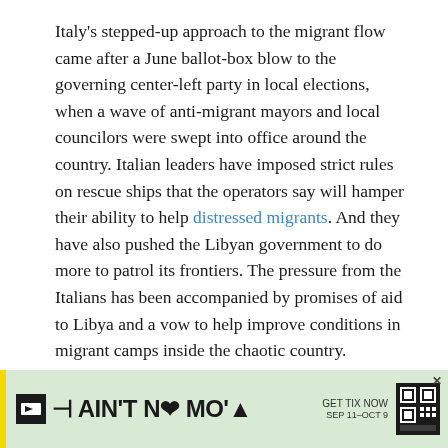Italy's stepped-up approach to the migrant flow came after a June ballot-box blow to the governing center-left party in local elections, when a wave of anti-migrant mayors and local councilors were swept into office around the country. Italian leaders have imposed strict rules on rescue ships that the operators say will hamper their ability to help distressed migrants. And they have also pushed the Libyan government to do more to patrol its frontiers. The pressure from the Italians has been accompanied by promises of aid to Libya and a vow to help improve conditions in migrant camps inside the chaotic country.
But critics say that Italian leaders are pursuing short-term electoral gain at the cost of migrants' lives.
[Figure (other): Advertisement banner for 'Ain't No Mo'' show with text 'GET TIX NOW SEP 11–OCT 9' on a green background with yellow stripe and QR code]